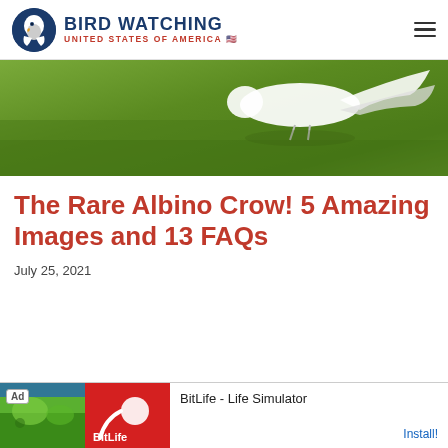BIRD WATCHING UNITED STATES OF AMERICA
[Figure (photo): Partial view of a white albino crow or bird on green grass, cropped to show mostly the grass and tail/wing feathers of the white bird]
The Rare Albino Crow! 5 Amazing Images and 13 FAQs
July 25, 2021
[Figure (screenshot): Advertisement banner for BitLife - Life Simulator app, showing ad label, app icon images with green and red panels, app name 'BitLife - Life Simulator' and an 'Install!' button]